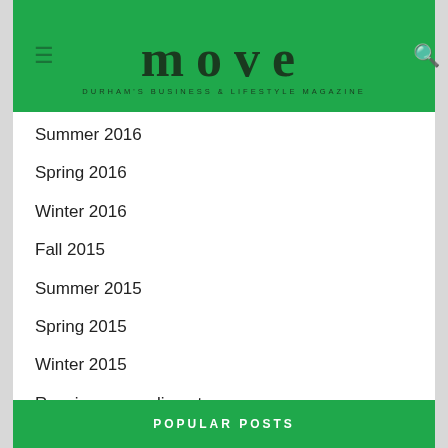move — DURHAM'S BUSINESS & LIFESTYLE MAGAZINE
Summer 2016
Spring 2016
Winter 2016
Fall 2015
Summer 2015
Spring 2015
Winter 2015
Receive a complimentary copy
Download the Advertisers Kit
POPULAR POSTS